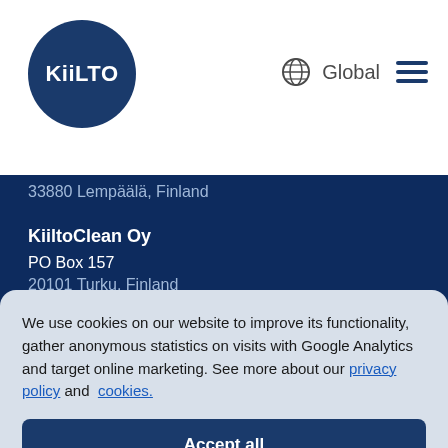[Figure (logo): KiilTO circular logo with white text on dark blue background]
Global
33880 Lempäälä, Finland
KiiltoClean Oy
PO Box 157
20101 Turku, Finland
We use cookies on our website to improve its functionality, gather anonymous statistics on visits with Google Analytics and target online marketing. See more about our privacy policy and cookies.
Accept all
Functional only
View preferences
20360 Turku, Finland
CONTACT
Customer service
customerservice@kiilto.com
Tel. +358 (0)207 210 100
weekdays 8:00 am – 4:00 pm (UTC+2)